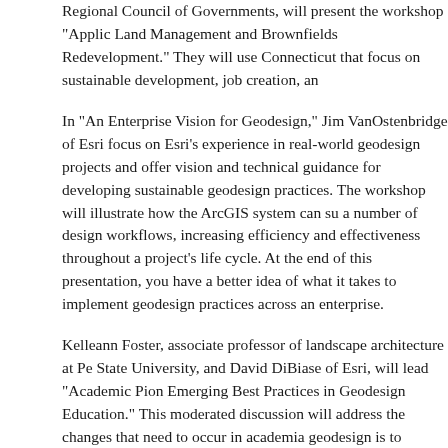Regional Council of Governments, will present the workshop "Applic Land Management and Brownfields Redevelopment." They will use Connecticut that focus on sustainable development, job creation, an
In "An Enterprise Vision for Geodesign," Jim VanOstenbridge of Esri focus on Esri's experience in real-world geodesign projects and offer vision and technical guidance for developing sustainable geodesign practices. The workshop will illustrate how the ArcGIS system can su a number of design workflows, increasing efficiency and effectiveness throughout a project's life cycle. At the end of this presentation, you have a better idea of what it takes to implement geodesign practices across an enterprise.
Kelleann Foster, associate professor of landscape architecture at Pe State University, and David DiBiase of Esri, will lead "Academic Pion Emerging Best Practices in Geodesign Education." This moderated discussion will address the changes that need to occur in academia geodesign is to succeed. You will hear a progress report from paneli whose schools are committed to offering courses and programs in geodesign. The most challenging and most promising aspects of the programs will also be examined.
Speakers Share Their Insights
Besides attending workshops and discussion groups, you will get the